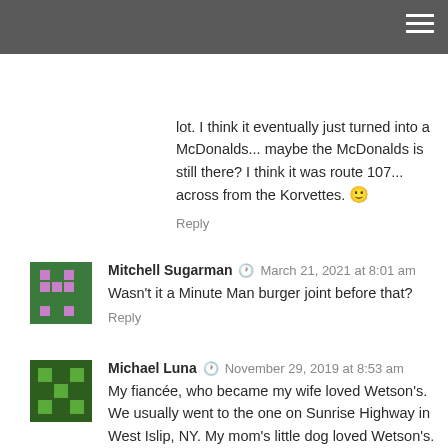my family lived in a garden apartment building that was kind of behind that strip of stores. We went there a lot. I think it eventually just turned into a McDonalds... maybe the McDonalds is still there? I think it was route 107... across from the Korvettes. 🙂
Reply
Mitchell Sugarman · March 21, 2021 at 8:01 am
Wasn't it a Minute Man burger joint before that?
Reply
Michael Luna · November 29, 2019 at 8:53 am
My fiancée, who became my wife loved Wetson's. We usually went to the one on Sunrise Highway in West Islip, NY. My mom's little dog loved Wetson's. We were at my house and we went out to bring home Wetson's. My mom said be sure to get one for Ginger, but hold the pickle. When we got home my fiancée was holding the bag. Ginger came charging out to the car and put